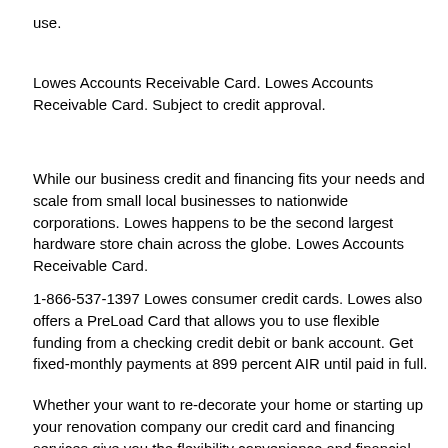use.
Lowes Accounts Receivable Card. Lowes Accounts Receivable Card. Subject to credit approval.
While our business credit and financing fits your needs and scale from small local businesses to nationwide corporations. Lowes happens to be the second largest hardware store chain across the globe. Lowes Accounts Receivable Card.
1-866-537-1397 Lowes consumer credit cards. Lowes also offers a PreLoad Card that allows you to use flexible funding from a checking credit debit or bank account. Get fixed-monthly payments at 899 percent AIR until paid in full.
Whether your want to re-decorate your home or starting up your renovation company our credit card and financing services give you the flexibility convenience and financial